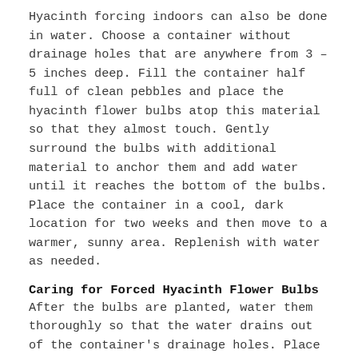Hyacinth forcing indoors can also be done in water. Choose a container without drainage holes that are anywhere from 3 – 5 inches deep. Fill the container half full of clean pebbles and place the hyacinth flower bulbs atop this material so that they almost touch. Gently surround the bulbs with additional material to anchor them and add water until it reaches the bottom of the bulbs. Place the container in a cool, dark location for two weeks and then move to a warmer, sunny area. Replenish with water as needed.
Caring for Forced Hyacinth Flower Bulbs
After the bulbs are planted, water them thoroughly so that the water drains out of the container's drainage holes. Place them in a cooler that is between 35 and 45 F. Keep the soil moist during the cooling period.
Roots will form and grow out of the holes in the